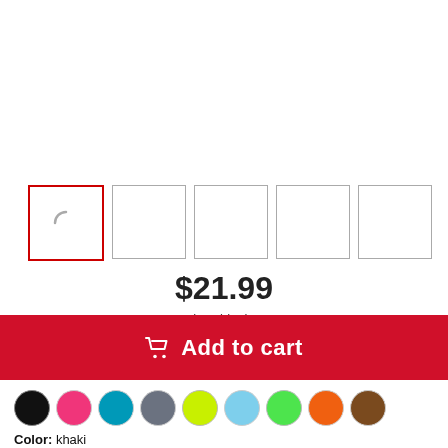[Figure (screenshot): Five product image thumbnail boxes, the first selected with a red border and showing a loading spinner arc, the rest empty with gray borders]
$21.99
plus shipping
Add to cart
[Figure (other): Row of 10 color swatches: black, pink, teal/blue, gray, yellow-green, light blue, green, orange, brown]
Color: khaki